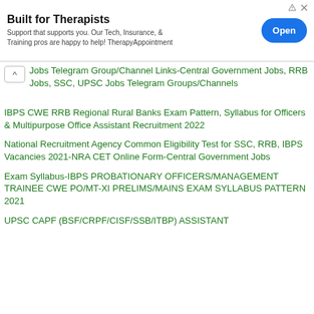[Figure (other): Advertisement banner: Built for Therapists — Support that supports you. Our Tech, Insurance, & Training pros are happy to help! TherapyAppointment. Open button.]
Jobs Telegram Group/Channel Links-Central Government Jobs, RRB Jobs, SSC, UPSC Jobs Telegram Groups/Channels
IBPS CWE RRB Regional Rural Banks Exam Pattern, Syllabus for Officers & Multipurpose Office Assistant Recruitment 2022
National Recruitment Agency Common Eligibility Test for SSC, RRB, IBPS Vacancies 2021-NRA CET Online Form-Central Government Jobs
Exam Syllabus-IBPS PROBATIONARY OFFICERS/MANAGEMENT TRAINEE CWE PO/MT-XI PRELIMS/MAINS EXAM SYLLABUS PATTERN 2021
UPSC CAPF (BSF/CRPF/CISF/SSB/ITBP) ASSISTANT